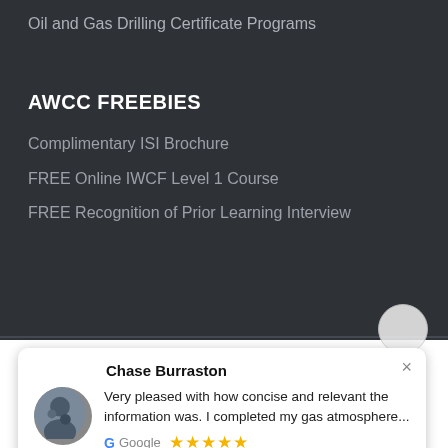Oil and Gas Drilling Certificate Programs
AWCC FREEBIES
Complimentary ISI Brochure
FREE Online IWCF Level 1 Course
FREE Recognition of Prior Learning Interview
Chase Burraston
Very pleased with how concise and relevant the information was. I completed my gas atmosphere...
Google ★★★★★